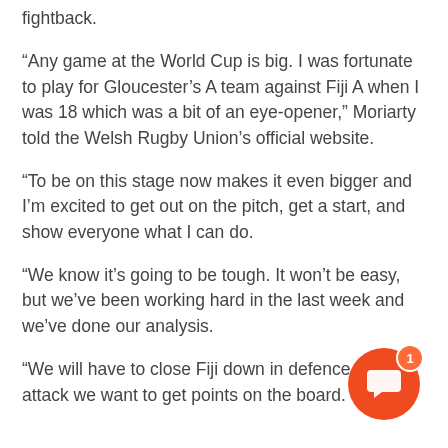fightback.
“Any game at the World Cup is big. I was fortunate to play for Gloucester’s A team against Fiji A when I was 18 which was a bit of an eye-opener,” Moriarty told the Welsh Rugby Union’s official website.
“To be on this stage now makes it even bigger and I’m excited to get out on the pitch, get a start, and show everyone what I can do.
“We know it’s going to be tough. It won’t be easy, but we’ve been working hard in the last week and we’ve done our analysis.
“We will have to close Fiji down in defence and in attack we want to get points on the board.
[Figure (other): Orange circular chat button with speech bubble icon and notification badge showing number 1]